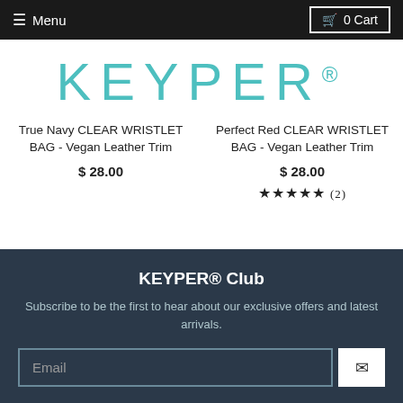≡ Menu | 🛍 0 Cart
[Figure (logo): KEYPER® brand logo in teal/turquoise color with large spaced lettering]
True Navy CLEAR WRISTLET BAG - Vegan Leather Trim
$ 28.00
Perfect Red CLEAR WRISTLET BAG - Vegan Leather Trim
$ 28.00
★★★★★ (2)
KEYPER® Club
Subscribe to be the first to hear about our exclusive offers and latest arrivals.
Email